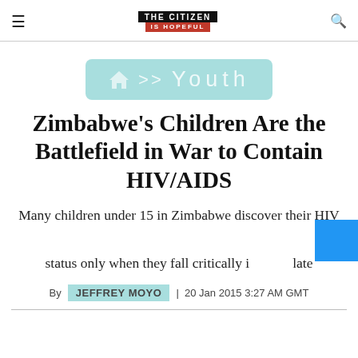The Citizen — Is Hopeful (logo)
[Figure (other): Breadcrumb navigation pill with home icon, arrows, and 'Youth' label on teal background]
Zimbabwe's Children Are the Battlefield in War to Contain HIV/AIDS
Many children under 15 in Zimbabwe discover their HIV status only when they fall critically ill — late
By JEFFREY MOYO | 20 Jan 2015 3:27 AM GMT